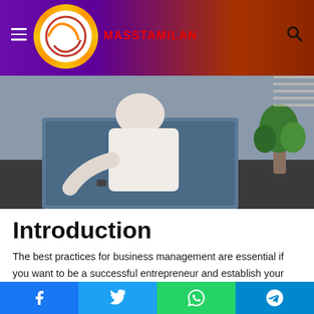MASSTAMILAN
[Figure (photo): Blurred office photo showing a person working at a laptop with a green plant in the background]
Introduction
The best practices for business management are essential if you want to be a successful entrepreneur and establish your own business. Business is complex, especially when founding it from the ground up. It can take years to figure out how everything works, and even then there’s always something new that needs figuring out. But with the right tools, any
Facebook | Twitter | WhatsApp | Telegram